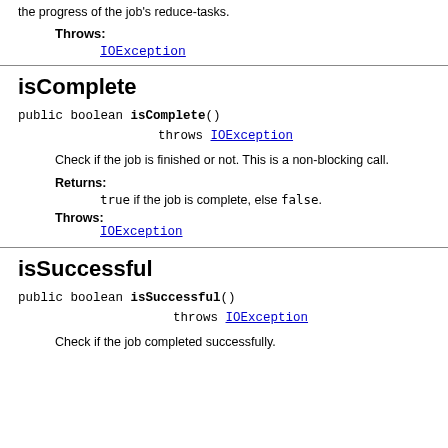the progress of the job's reduce-tasks.
Throws:
IOException
isComplete
public boolean isComplete()
            throws IOException
Check if the job is finished or not. This is a non-blocking call.
Returns:
true if the job is complete, else false.
Throws:
IOException
isSuccessful
public boolean isSuccessful()
            throws IOException
Check if the job completed successfully.